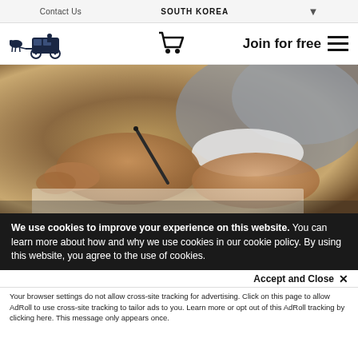Contact Us  SOUTH KOREA
[Figure (logo): Horse-drawn carriage logo (dark navy illustration)]
[Figure (illustration): Shopping cart icon]
Join for free
[Figure (photo): Close-up photo of two people shaking hands while signing a document with a pen]
We use cookies to improve your experience on this website. You can learn more about how and why we use cookies in our cookie policy. By using this website, you agree to the use of cookies.
Accept and Close ✕
Your browser settings do not allow cross-site tracking for advertising. Click on this page to allow AdRoll to use cross-site tracking to tailor ads to you. Learn more or opt out of this AdRoll tracking by clicking here. This message only appears once.